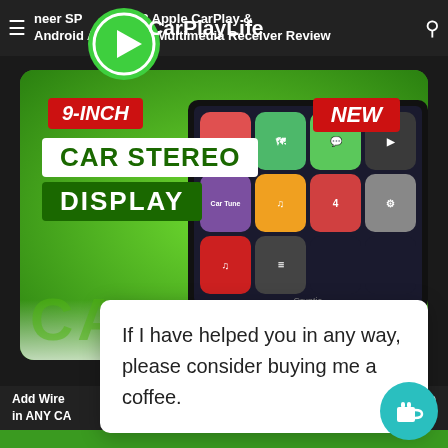Pioneer SPH-DA3 Apple CarPlay & Android Auto DAB Multimedia Receiver Review
[Figure (screenshot): CarPlayLife website screenshot showing a 9-inch car stereo display product thumbnail on green background with app icons visible on screen, red badges reading 9-INCH and NEW, white badge CAR STEREO, dark green badge DISPLAY, watermark text CAR...Y]
If I have helped you in any way, please consider buying me a coffee.
Add Wire...in ANY CA... YouTube ...ay